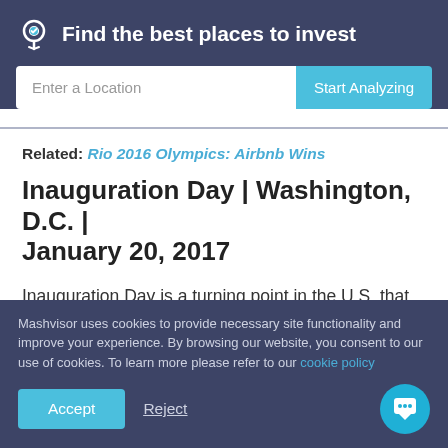Find the best places to invest
Enter a Location | Start Analyzing
Related: Rio 2016 Olympics: Airbnb Wins
Inauguration Day | Washington, D.C. | January 20, 2017
Inauguration Day is a turning point in the U.S. that takes place every four years. It is a ceremony that marks the
Mashvisor uses cookies to provide necessary site functionality and improve your experience. By browsing our website, you consent to our use of cookies. To learn more please refer to our cookie policy
Accept | Reject